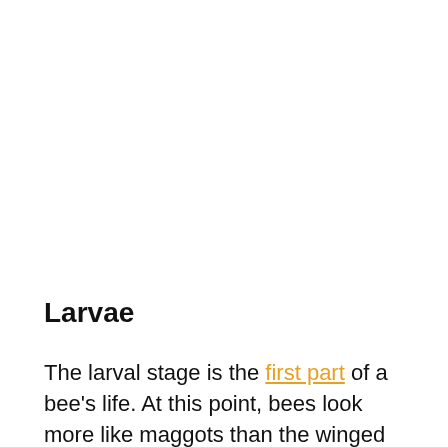Larvae
The larval stage is the first part of a bee's life. At this point, bees look more like maggots than the winged insects they will become. This is true of the various species.